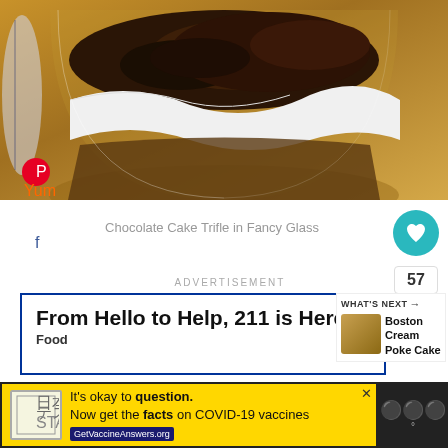[Figure (photo): Close-up photo of a chocolate cake trifle in a fancy glass bowl, showing layers of dark chocolate cake crumbles and white cream on a wooden surface]
Chocolate Cake Trifle in Fancy Glass
[Figure (infographic): Advertisement banner: From Hello to Help, 211 is Here. Food]
[Figure (infographic): WHAT'S NEXT → Boston Cream Poke Cake thumbnail]
[Figure (infographic): Bottom advertisement bar: It's okay to question. Now get the facts on COVID-19 vaccines. GetVaccineAnswers.org]